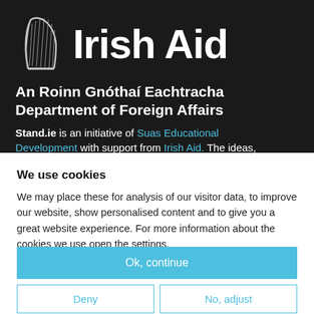[Figure (logo): Irish Aid logo with harp symbol and text 'Irish Aid']
Irish Aid
An Roinn Gnóthaí Eachtracha
Department of Foreign Affairs
Stand.ie is an initiative of Suas Educational Development with support from Irish Aid. The ideas,
We use cookies
We may place these for analysis of our visitor data, to improve our website, show personalised content and to give you a great website experience. For more information about the cookies we use open the settings.
Ok, continue
Deny
No, adjust